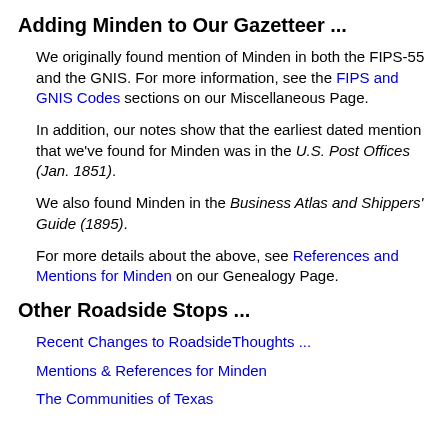Adding Minden to Our Gazetteer ...
We originally found mention of Minden in both the FIPS-55 and the GNIS. For more information, see the FIPS and GNIS Codes sections on our Miscellaneous Page.
In addition, our notes show that the earliest dated mention that we've found for Minden was in the U.S. Post Offices (Jan. 1851).
We also found Minden in the Business Atlas and Shippers' Guide (1895).
For more details about the above, see References and Mentions for Minden on our Genealogy Page.
Other Roadside Stops ...
Recent Changes to RoadsideThoughts ...
Mentions & References for Minden
The Communities of Texas